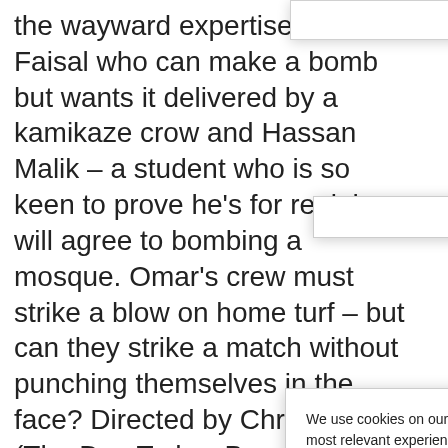the wayward expertise of Faisal who can make a bomb but wants it delivered by a kamikaze crow and Hassan Malik – a student who is so keen to prove he's for real, he will agree to bombing a mosque. Omar's crew must strike a blow on home turf – but can they strike a match without punching themselves in the face? Directed by Chris Morris (The Day Today, Brass Eye), co written with S the Loop, Pee performance Guantanamo Syriana), Nig Akhtar with K unforgettabl surprising lig subject, tight rocks with laugher from start to finish.
We use cookies on our website to give you the most relevant experience by remembering your preferences and repeat visits. By clicking "Accept", you consent to the use of ALL the cookies.

Do not sell my personal information.

Cookie Settings | Accept

Privacy Policy